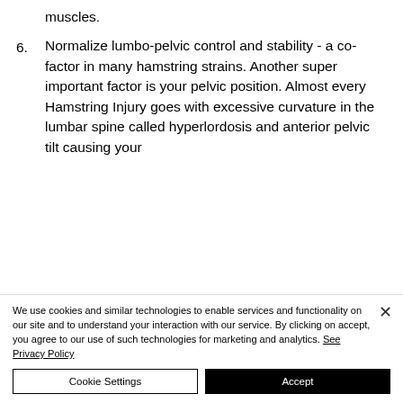muscles.
6. Normalize lumbo-pelvic control and stability - a co-factor in many hamstring strains. Another super important factor is your pelvic position. Almost every Hamstring Injury goes with excessive curvature in the lumbar spine called hyperlordosis and anterior pelvic tilt causing your
We use cookies and similar technologies to enable services and functionality on our site and to understand your interaction with our service. By clicking on accept, you agree to our use of such technologies for marketing and analytics. See Privacy Policy
Cookie Settings
Accept